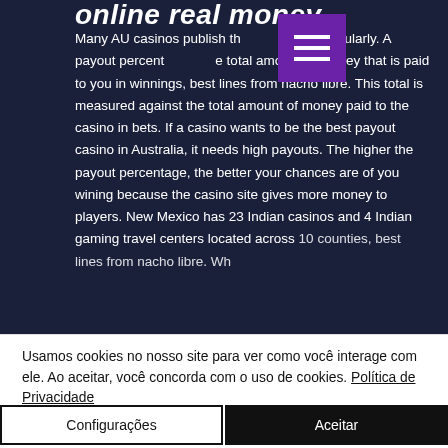online real money
Many AU casinos publish th mation regularly. A payout percent e total amount of money that is paid to you in winnings, best lines from nacho libre. This total is measured against the total amount of money paid to the casino in bets. If a casino wants to be the best payout casino in Australia, it needs high payouts. The higher the payout percentage, the better your chances are of you wining because the casino site gives more money to players. New Mexico has 23 Indian casinos and 4 Indian gaming travel centers located across 10 counties, best lines from nacho libre. Wh...
Usamos cookies no nosso site para ver como você interage com ele. Ao aceitar, você concorda com o uso de cookies. Política de Privacidade
Configurações
Aceitar